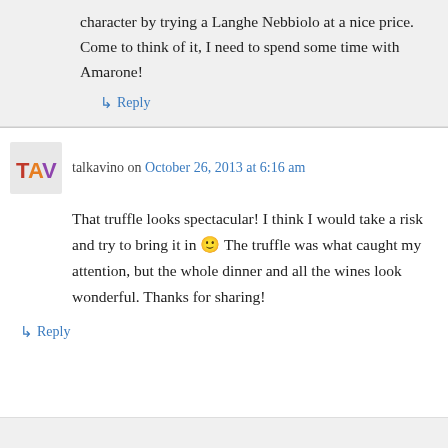character by trying a Langhe Nebbiolo at a nice price. Come to think of it, I need to spend some time with Amarone!
↳ Reply
talkavino on October 26, 2013 at 6:16 am
That truffle looks spectacular! I think I would take a risk and try to bring it in 🙂 The truffle was what caught my attention, but the whole dinner and all the wines look wonderful. Thanks for sharing!
↳ Reply